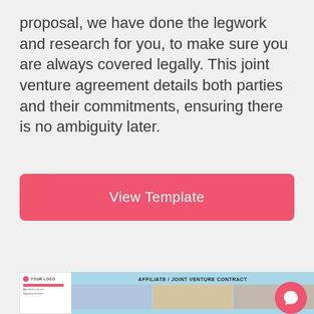proposal, we have done the legwork and research for you, to make sure you are always covered legally. This joint venture agreement details both parties and their commitments, ensuring there is no ambiguity later.
View Template
[Figure (screenshot): Preview of an Affiliate / Joint Venture Contract document template showing a sidebar navigation and a header with photos of people in a business setting]